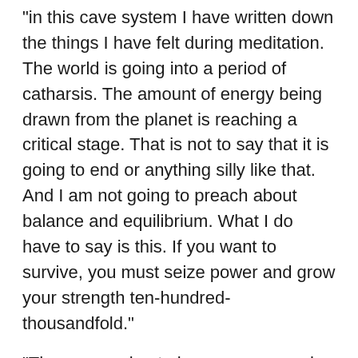“in this cave system I have written down the things I have felt during meditation. The world is going into a period of catharsis. The amount of energy being drawn from the planet is reaching a critical stage. That is not to say that it is going to end or anything silly like that. And I am not going to preach about balance and equilibrium. What I do have to say is this. If you want to survive, you must seize power and grow your strength ten-hundred-thousandfold.”
“There are going to be wars on a scale never before seen by humanity. Of course a battle between termites and wasps are equally as destructive to them, and to them it must feel like the world is ending. Still, a victor emerges and the cycle of nature continues. It will be like this for humans. If you do not wish to see the genocide of any living creature, if you have those you love, you must do all you can to win.”